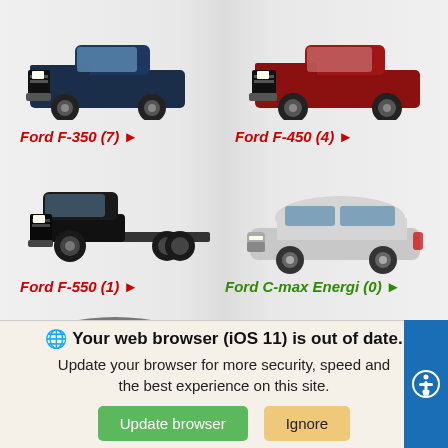[Figure (photo): Ford F-350 dark blue pickup truck]
Ford F-350 (7) ►
[Figure (photo): Ford F-450 red pickup truck]
Ford F-450 (4) ►
[Figure (photo): Ford F-550 black cab chassis truck]
Ford F-550 (1) ►
[Figure (photo): Ford C-max Energi silver hatchback]
Ford C-max Energi (0) ►
[Figure (photo): Ford dark gray hatchback]
[Figure (photo): Ford brown/copper sedan]
We use cookies to optimize our website and our service.
Cookie Policy   Privacy Statement
Your web browser (iOS 11) is out of date. Update your browser for more security, speed and the best experience on this site.
Update browser
Ignore